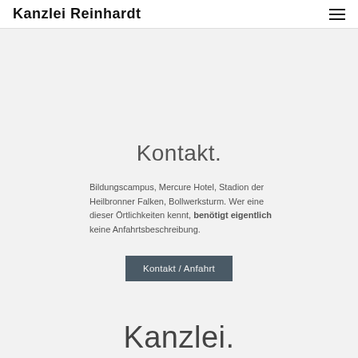Kanzlei Reinhardt
Kontakt.
Bildungscampus, Mercure Hotel, Stadion der Heilbronner Falken, Bollwerksturm. Wer eine dieser Örtlichkeiten kennt, benötigt eigentlich keine Anfahrtsbeschreibung.
Kontakt / Anfahrt
Kanzlei.